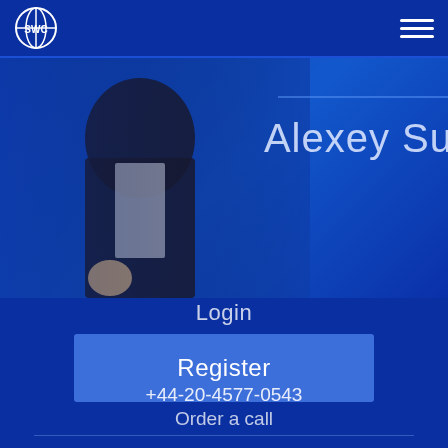SWC logo and navigation menu
[Figure (screenshot): Hero image showing a person in a dark jacket against a dark blue background, with partial text 'Alexey Su' visible on the right side]
Login
Register
+44-20-4577-0543
Order a call
[Figure (other): Social media icons row: Facebook, Twitter, Instagram, VK, Odnoklassniki]